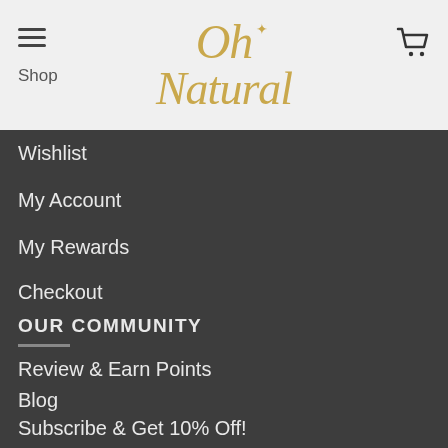Oh Natural — navigation header with hamburger menu, logo, and cart icon
Shop
Wishlist
My Account
My Rewards
Checkout
OUR COMMUNITY
Review & Earn Points
Blog
Subscribe & Get 10% Off!
Testimonials